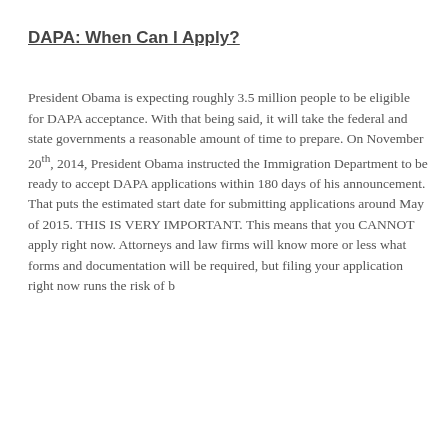DAPA: When Can I Apply?
President Obama is expecting roughly 3.5 million people to be eligible for DAPA acceptance.  With that being said, it will take the federal and state governments a reasonable amount of time to prepare.  On November 20th, 2014, President Obama instructed the Immigration Department to be ready to accept DAPA applications within 180 days of his announcement.  That puts the estimated start date for submitting applications around May of 2015.  THIS IS VERY IMPORTANT.  This means that you CANNOT apply right now.  Attorneys and law firms will know more or less what forms and documentation will be required, but filing your application right now runs the risk of being rejected or lost in the process. While